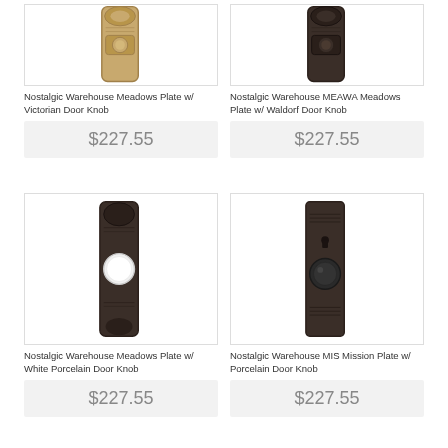[Figure (photo): Nostalgic Warehouse Meadows Plate with Victorian Door Knob - antique brass finish, top portion of plate visible]
Nostalgic Warehouse Meadows Plate w/ Victorian Door Knob
$227.55
[Figure (photo): Nostalgic Warehouse MEAWA Meadows Plate with Waldorf Door Knob - dark oil-rubbed bronze finish, top portion visible]
Nostalgic Warehouse MEAWA Meadows Plate w/ Waldorf Door Knob
$227.55
[Figure (photo): Nostalgic Warehouse Meadows Plate with White Porcelain Door Knob - oil-rubbed bronze plate with white round knob]
Nostalgic Warehouse Meadows Plate w/ White Porcelain Door Knob
$227.55
[Figure (photo): Nostalgic Warehouse MIS Mission Plate with Porcelain Door Knob - oil-rubbed bronze rectangular plate with black round knob]
Nostalgic Warehouse MIS Mission Plate w/ Porcelain Door Knob
$227.55